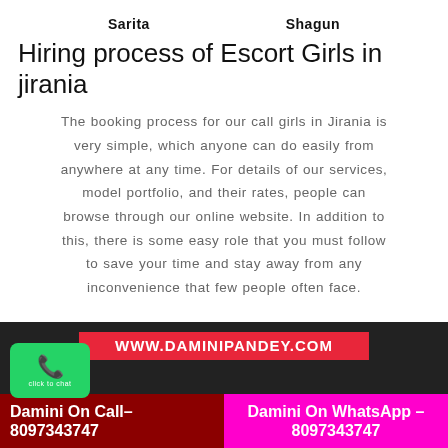Sarita    Shagun
Hiring process of Escort Girls in jirania
The booking process for our call girls in Jirania is very simple, which anyone can do easily from anywhere at any time. For details of our services, model portfolio, and their rates, people can browse through our online website. In addition to this, there is some easy role that you must follow to save your time and stay away from any inconvenience that few people often face.
[Figure (infographic): Dark banner with red box showing WWW.DAMINIPANDEY.COM, bottom bar split into dark red (Damini On Call– 8097343747) and magenta (Damini On WhatsApp – 8097343747), with WhatsApp icon at bottom left]